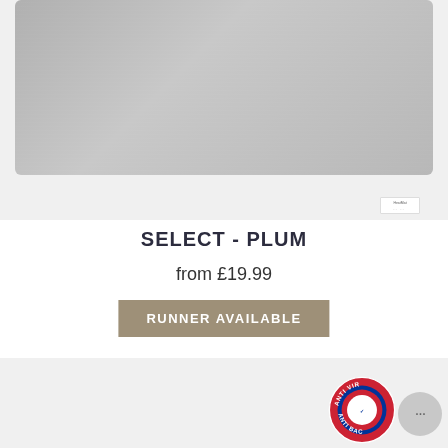[Figure (photo): Top portion of a grey rectangular mat/rug with small brand label tag in bottom right corner, shown on a light grey background]
SELECT - PLUM
from £19.99
RUNNER AVAILABLE
[Figure (photo): Bottom portion showing second product image area with anti-viral/anti-bacterial circular badge stamp and a grey chat/support bubble icon in bottom right corner]